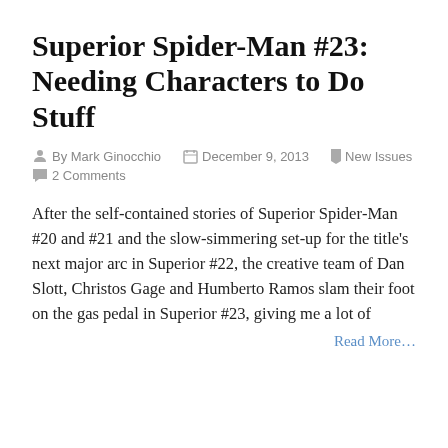Superior Spider-Man #23: Needing Characters to Do Stuff
By Mark Ginocchio   December 9, 2013   New Issues   2 Comments
After the self-contained stories of Superior Spider-Man #20 and #21 and the slow-simmering set-up for the title's next major arc in Superior #22, the creative team of Dan Slott, Christos Gage and Humberto Ramos slam their foot on the gas pedal in Superior #23, giving me a lot of
Read More...